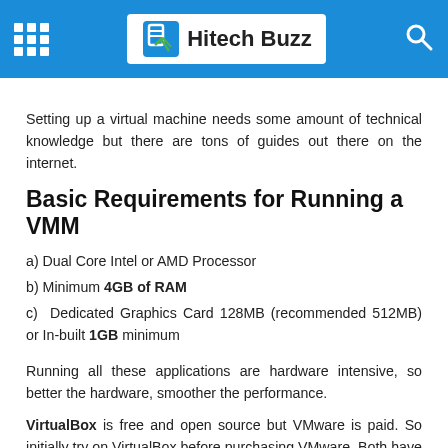Hitech Buzz
Setting up a virtual machine needs some amount of technical knowledge but there are tons of guides out there on the internet.
Basic Requirements for Running a VMM
a) Dual Core Intel or AMD Processor
b) Minimum 4GB of RAM
c) Dedicated Graphics Card 128MB (recommended 512MB) or In-built 1GB minimum
Running all these applications are hardware intensive, so better the hardware, smoother the performance.
VirtualBox is free and open source but VMware is paid. So initially try on VirtualBox before purchasing VMware. Both have their